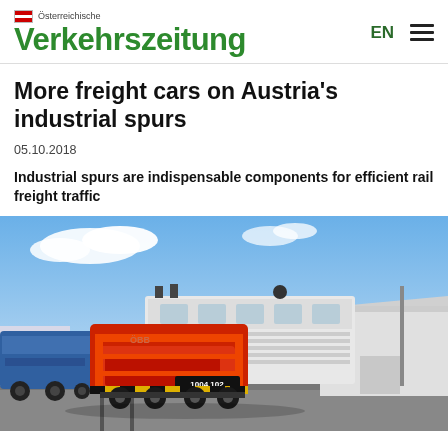Österreichische Verkehrszeitung | EN
More freight cars on Austria's industrial spurs
05.10.2018
Industrial spurs are indispensable components for efficient rail freight traffic
[Figure (photo): Red and white diesel locomotive on an industrial spur track under blue sky, with industrial buildings in the background.]